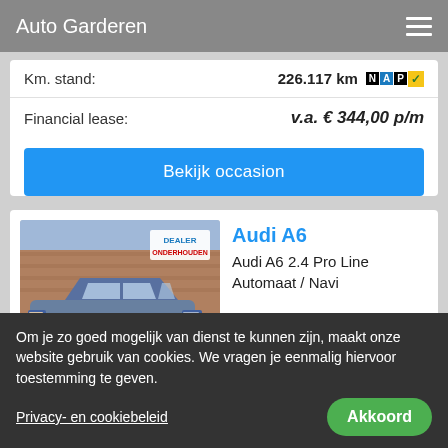Auto Garderen
| Km. stand: | 226.117 km [NAP✓] |
| Financial lease: | v.a. € 344,00 p/m |
Bekijk occasion
Audi A6
Audi A6 2.4 Pro Line Automaat / Navi
[Figure (photo): Gray Audi A6 sedan parked in front of a brick building dealership. A 'Dealer Onderhouden' badge is visible in the top right corner of the photo.]
Om je zo goed mogelijk van dienst te kunnen zijn, maakt onze website gebruik van cookies. We vragen je eenmalig hiervoor toestemming te geven.
Privacy- en cookiebeleid
Akkoord